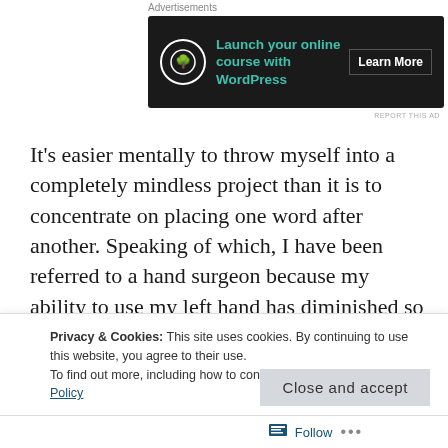[Figure (other): Dark advertisement banner for WordPress online course with bonsai tree icon, teal text 'Launch your online course with WordPress', and 'Learn More' button]
It's easier mentally to throw myself into a completely mindless project than it is to concentrate on placing one word after another. Speaking of which, I have been referred to a hand surgeon because my ability to use my left hand has diminished so much that writing with a pen is an exercise in pain if I hold the pen for more than a few minutes. Of course, as with most things, I have to go through a bunch of forms and releases before this new
Privacy & Cookies: This site uses cookies. By continuing to use this website, you agree to their use.
To find out more, including how to control cookies, see here: Cookie Policy
Close and accept
Follow